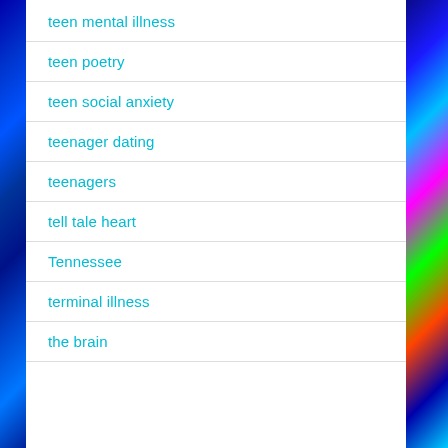teen mental illness
teen poetry
teen social anxiety
teenager dating
teenagers
tell tale heart
Tennessee
terminal illness
the brain